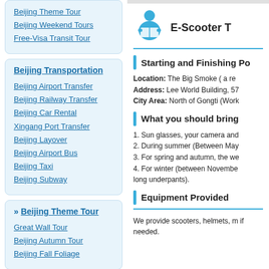Beijing Theme Tour
Beijing Weekend Tours
Free-Visa Transit Tour
Beijing Transportation
Beijing Airport Transfer
Beijing Railway Transfer
Beijing Car Rental
Xingang Port Transfer
Beijing Layover
Beijing Airport Bus
Beijing Taxi
Beijing Subway
» Beijing Theme Tour
Great Wall Tour
Beijing Autumn Tour
Beijing Fall Foliage
[Figure (illustration): Person reading icon in blue]
E-Scooter T
Starting and Finishing Po
Location: The Big Smoke ( a re
Address: Lee World Building, 57
City Area: North of Gongti (Work
What you should bring
1. Sun glasses, your camera and
2. During summer (Between May
3. For spring and autumn, the we
4. For winter (between November long underpants).
Equipment Provided
We provide scooters, helmets, m if needed.